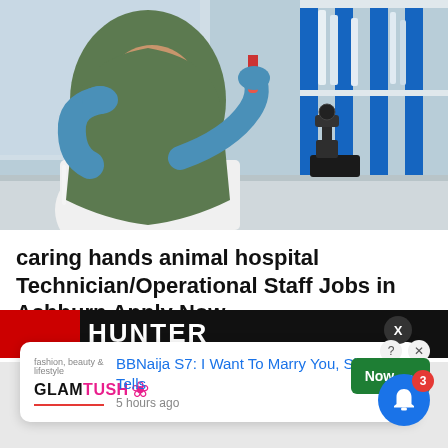[Figure (photo): A woman wearing a green hijab, white lab coat, and blue latex gloves holds a test tube or vial in a laboratory setting. A microscope is visible in the background along with blue and white shelving.]
caring hands animal hospital Technician/Operational Staff Jobs in Ashburn Apply Now
jobble.com | Sponsored
[Figure (screenshot): A red and black banner advertisement strip partially visible at the bottom of the main content area]
[Figure (infographic): A popup notification card from GlamTush website with text: BBNaija S7: I Want To Marry You, Sheggz Tells — 5 hours ago. Also shows a green 'Now ->' button and a blue bell icon with badge showing 3.]